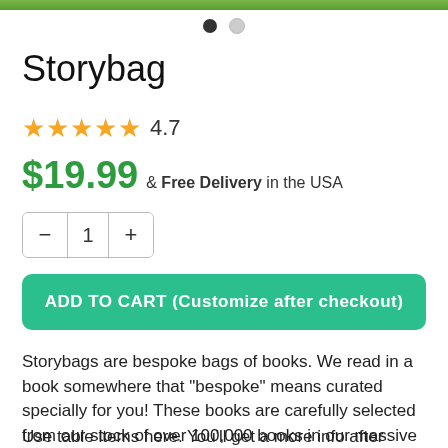[Figure (photo): Top portion of a product image (green/nature background), partially cropped]
[Figure (infographic): Carousel navigation dots: one filled black dot and one empty gray dot]
Storybag
★★★★★ 4.7
$19.99 & Free Delivery in the USA
− 1 +
ADD TO CART (Customize after checkout)
Storybags are bespoke bags of books. We read in a book somewhere that "bespoke" means curated specially for you! These books are carefully selected from our stock of over 100,000 books in our massive warehouse.
Use table items here. You'll get a more info after checkout